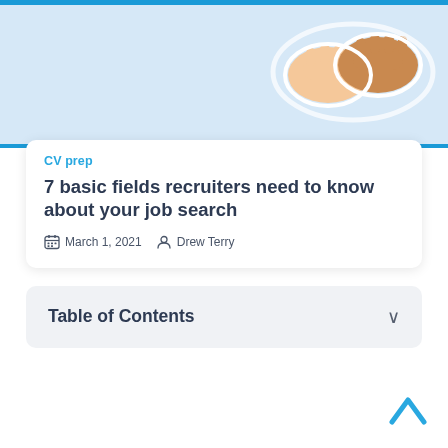[Figure (illustration): Hero image with light blue background showing handshake illustration, with blue horizontal bar at the bottom]
CV prep
7 basic fields recruiters need to know about your job search
March 1, 2021   Drew Terry
Table of Contents